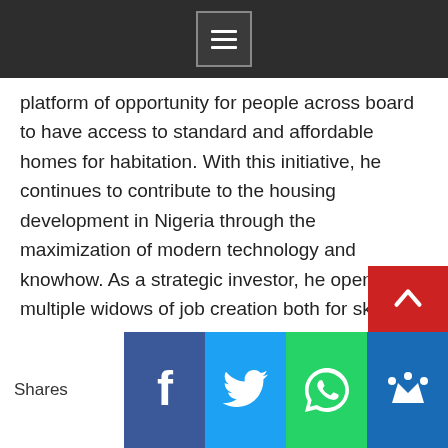[Figure (other): Dark top navigation bar with a hamburger/list menu icon (white lines on dark background with border)]
platform of opportunity for people across board to have access to standard and affordable homes for habitation. With this initiative, he continues to contribute to the housing development in Nigeria through the maximization of modern technology and knowhow. As a strategic investor, he opened multiple widows of job creation both for skilled and unskilled labor.
In other words, his investment does not only address the major concern of housing deficit but provides a chain of employment opportunities. This is one of the many reasons why I idolize King Moh Odeh Adah as my business idol and role model. His investment footprint has broadened my horizon with the right orientation to invest wisely. This means, if I am to invest, my investment must be targete
[Figure (other): Bottom social sharing bar with Shares label and Facebook, Twitter, WhatsApp, and Crown (bookmark) social media buttons]